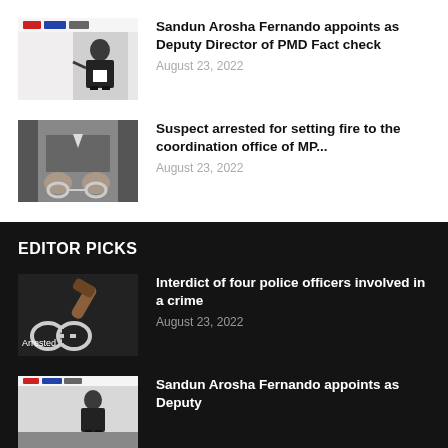[Figure (photo): Man in suit presenting at a conference with logos in background]
Sandun Arosha Fernando appoints as Deputy Director of PMD Fact check
August 23, 2022
[Figure (photo): Person handcuffed from behind, close-up of handcuffed wrists]
Suspect arrested for setting fire to the coordination office of MP...
August 23, 2022
EDITOR PICKS
[Figure (photo): Arrested label with handcuffs and gavel on dark background]
Interdict of four police officers involved in a crime
August 23, 2022
[Figure (photo): Partial thumbnail of Sandun Arosha Fernando article image]
Sandun Arosha Fernando appoints as Deputy